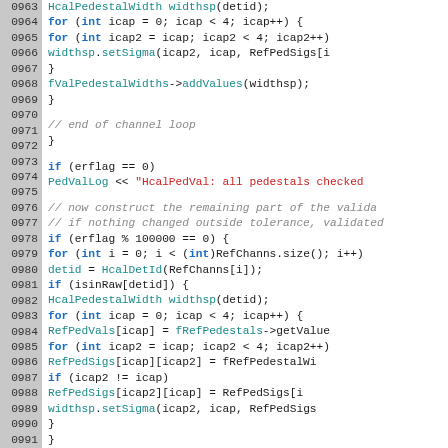[Figure (screenshot): Source code listing in C++ showing lines 0963 to 0992, with line numbers on grey background on left and syntax-highlighted code on white background on right. Keywords in blue bold, function calls in teal, strings in red, comments in grey italic.]